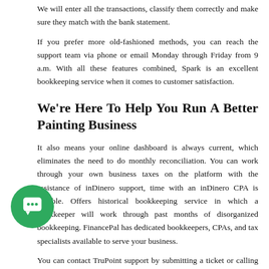We will enter all the transactions, classify them correctly and make sure they match with the bank statement.
If you prefer more old-fashioned methods, you can reach the support team via phone or email Monday through Friday from 9 a.m. With all these features combined, Spark is an excellent bookkeeping service when it comes to customer satisfaction.
We're Here To Help You Run A Better Painting Business
It also means your online dashboard is always current, which eliminates the need to do monthly reconciliation. You can work through your own business taxes on the platform with the assistance of inDinero support, time with an inDinero CPA is billable. Offers historical bookkeeping service in which a bookkeeper will work through past months of disorganized bookkeeping. FinancePal has dedicated bookkeepers, CPAs, and tax specialists available to serve your business.
You can contact TruPoint support by submitting a ticket or calling the team